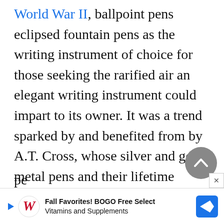World War II, ballpoint pens eclipsed fountain pens as the writing instrument of choice for those seeking the rarified air an elegant writing instrument could impart to its owner. It was a trend sparked by and benefited from by A.T. Cross, whose silver and gold metal pens and their lifetime warranty of superior performance were the rage for decades. The company was meticulous in its approach to the manufacture of mechanical pens and pe...s
[Figure (screenshot): Advertisement banner at bottom of page: Walgreens 'Fall Favorites! BOGO Free Select Vitamins and Supplements' ad with blue diamond arrow icon. A scroll-to-top button (grey circle with up chevron) and a close (X) button overlay the content above the ad.]